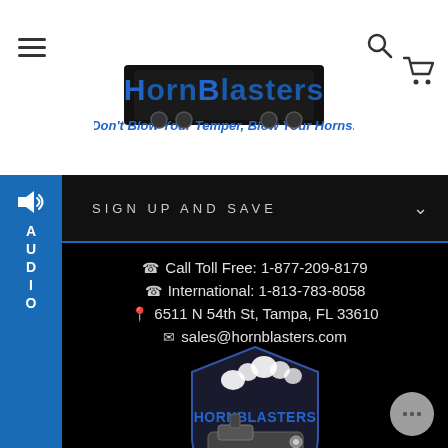[Figure (logo): HornBlasters logo with train graphic and tagline 'Don't Blow Your Temper, Blow Your Horns!']
[Figure (logo): Audio tab with speaker icon on left side nav]
SIGN UP AND SAVE
Call Toll Free: 1-877-209-8179
International: 1-813-783-8058
6511 N 54th St, Tampa, FL 33610
sales@hornblasters.com
[Figure (logo): HornBlasters shield/badge logo with train locomotive graphic]